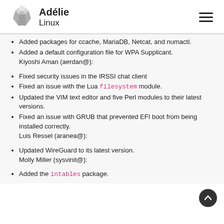Adélie Linux
Added packages for ccache, MariaDB, Netcat, and numactl.
Added a default configuration file for WPA Supplicant. Kiyoshi Aman (aerdan@):
Fixed security issues in the IRSSI chat client
Fixed an issue with the Lua filesystem module.
Updated the VIM text editor and five Perl modules to their latest versions.
Fixed an issue with GRUB that prevented EFI boot from being installed correctly. Luis Ressel (aranea@):
Updated WireGuard to its latest version. Molly Miller (sysvinit@):
Added the intables package.